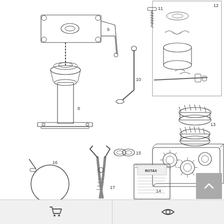[Figure (engineering-diagram): Technical exploded-view diagram showing numbered mechanical parts: item 8 (pedestal/column mount assembly), item 9 (top bracket with feet), item 10 (angled nozzle/tip), item 11 (screw/threaded rod), item 12 (boxed set of clamp ring components including rubber ring, clips, rod, bushings), item 13 (two crown-shaped rubber cups/seals), item 14 (rectangular plate with multiple gear/chain sprockets), item 15 (chain link connector), item 16 (hose clamp with tube), item 17 (pliers/cutting tool), item 18 (ROTAX branded instruction booklet/manual)]
Cart icon | Eye icon